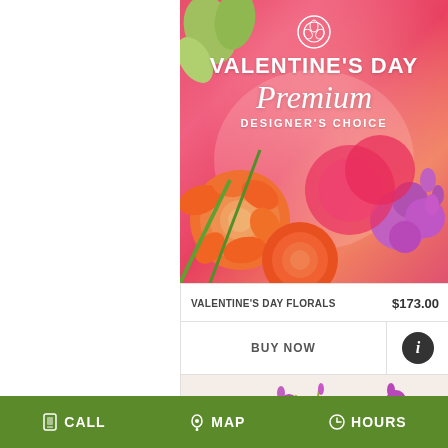[Figure (photo): Valentine's Day floral arrangement promotional banner image with pink/coral/orange roses and purple flowers on a pink gradient background. Shows rose icon at top, text 'VALENTINE'S DAY' in white uppercase, 'Premium' in white italic script, and 'DESIGNER'S CHOICE' in white uppercase letters.]
VALENTINE'S DAY
Premium
DESIGNER'S CHOICE
| Product | Price |
| --- | --- |
| VALENTINE'S DAY FLORALS | $173.00 |
| BUY NOW | ℹ |
[Figure (photo): Partial view of a second floral arrangement with purple/magenta flowers and green stems visible at bottom of product listing.]
CALL   MAP   HOURS